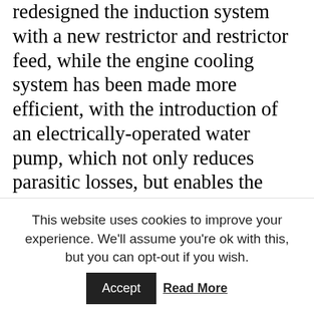redesigned the induction system with a new restrictor and restrictor feed, while the engine cooling system has been made more efficient, with the introduction of an electrically-operated water pump, which not only reduces parasitic losses, but enables the engine temperature to be more accurately controlled and in turn the knock control optimised. Without a belt-driven water pump the alternator has been moved and the whole area around the drive belt made more robust, with a shorter drive belt which is simpler to change. With all these modifications, the engine management system software and associated electronics have been upgraded with optimised fail safe modes and enhanced driver and co-driver in-car displays.
This website uses cookies to improve your experience. We'll assume you're ok with this, but you can opt-out if you wish. Accept Read More